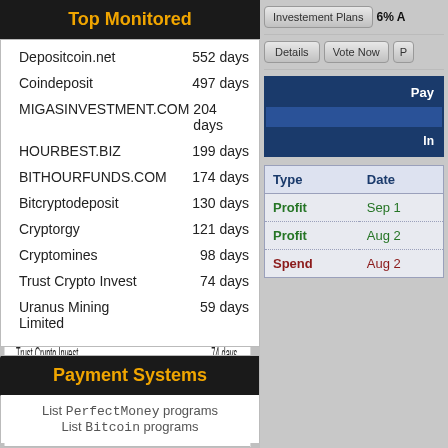Top Monitored
Depositcoin.net   552 days
Coindeposit   497 days
MIGASINVESTMENT.COM   204 days
HOURBEST.BIZ   199 days
BITHOURFUNDS.COM   174 days
Bitcryptodeposit   130 days
Cryptorgy   121 days
Cryptomines   98 days
Trust Crypto Invest   74 days
Uranus Mining Limited   59 days
Payment Systems
List PerfectMoney programs
List Bitcoin programs
Investement Plans   6% A...
Details   Vote Now   P...
| Pay... |
| --- |
|  |
| In... |
| Type | Date |
| --- | --- |
| Profit | Sep 1... |
| Profit | Aug 2... |
| Spend | Aug 2... |